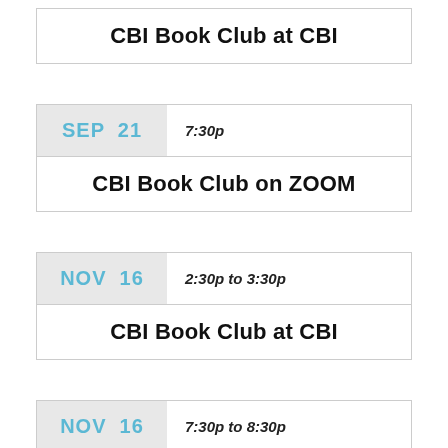| CBI Book Club at CBI |
| SEP 21 | 7:30p |
| --- | --- |
| CBI Book Club on ZOOM |
| NOV 16 | 2:30p to 3:30p |
| --- | --- |
| CBI Book Club at CBI |
| NOV 16 | 7:30p to 8:30p |
| --- | --- |